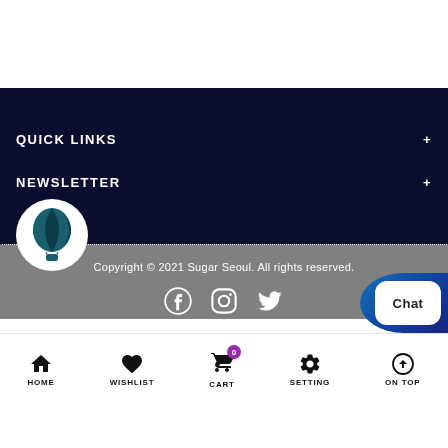QUICK LINKS
NEWSLETTER
Copyright © 2021 Sugar Seoul. All rights reserved.
[Figure (other): Social media icons: Facebook, Instagram, Twitter]
[Figure (logo): Hot air balloon logo in teal circle]
[Figure (other): Chat bubble widget partially visible on right edge]
HOME WISHLIST CART SETTING ON TOP bottom navigation bar